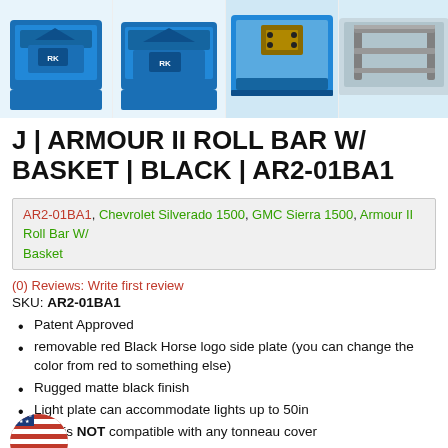[Figure (photo): Four product images of the Armour II Roll Bar with Basket shown from different angles, featuring blue/silver metallic truck bed accessory with a Black Horse logo plate]
J | ARMOUR II ROLL BAR W/ BASKET | BLACK | AR2-01BA1
AR2-01BA1, Chevrolet Silverado 1500, GMC Sierra 1500, Armour II Roll Bar W/ Basket
(0) Reviews: Write first review
SKU: AR2-01BA1
Patent Approved
removable red Black Horse logo side plate (you can change the color from red to something else)
Rugged matte black finish
Light plate can accommodate lights up to 50in
This is NOT compatible with any tonneau cover
PATENTED black horse off road design
[Figure (illustration): USA flag icon (partial, bottom left corner)]